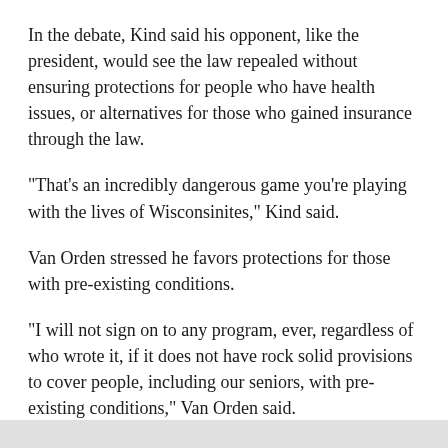In the debate, Kind said his opponent, like the president, would see the law repealed without ensuring protections for people who have health issues, or alternatives for those who gained insurance through the law.
"That's an incredibly dangerous game you're playing with the lives of Wisconsinites," Kind said.
Van Orden stressed he favors protections for those with pre-existing conditions.
"I will not sign on to any program, ever, regardless of who wrote it, if it does not have rock solid provisions to cover people, including our seniors, with pre-existing conditions," Van Orden said.
Watch a video of the entire debate here.